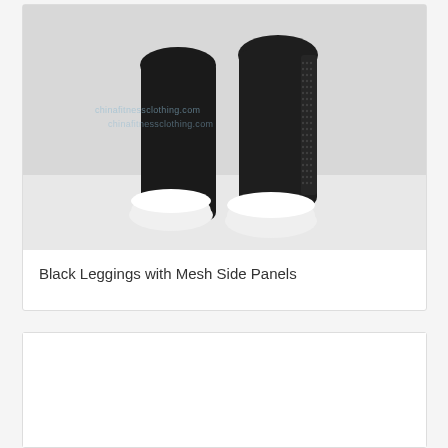[Figure (photo): Product photo of black leggings with mesh side panels worn by a model, showing legs and white sneakers. Watermark text 'chinafitnessclothing.com' overlaid on image. White/light grey studio background.]
Black Leggings with Mesh Side Panels
[Figure (photo): Second product card, partially visible at bottom of page, content not shown.]